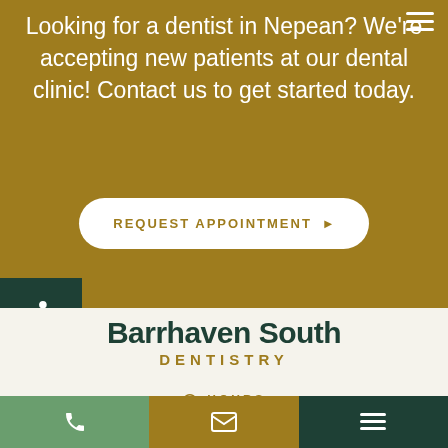Looking for a dentist in Nepean? We're accepting new patients at our dental clinic! Contact us to get started today.
REQUEST APPOINTMENT ▶
Barrhaven South DENTISTRY
⊙ HOURS
Monday:    08:00 am - 08:00 pm